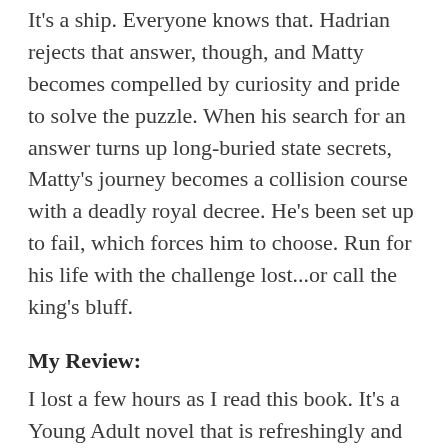It's a ship. Everyone knows that. Hadrian rejects that answer, though, and Matty becomes compelled by curiosity and pride to solve the puzzle. When his search for an answer turns up long-buried state secrets, Matty's journey becomes a collision course with a deadly royal decree. He's been set up to fail, which forces him to choose. Run for his life with the challenge lost...or call the king's bluff.
My Review:
I lost a few hours as I read this book. It's a Young Adult novel that is refreshingly and astonishingly intelligent, and the love story is perfectly played out.
Set in a world that is similar to our own but far removed, with a King who leads the people and set mostly in the royal city of Aventine, Matty is given a